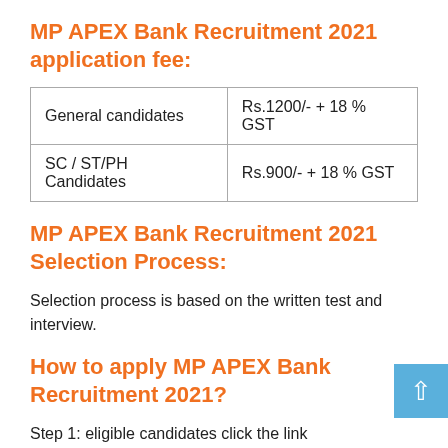MP APEX Bank Recruitment 2021 application fee:
| General candidates | Rs.1200/- + 18 % GST |
| SC / ST/PH Candidates | Rs.900/- + 18 % GST |
MP APEX Bank Recruitment 2021 Selection Process:
Selection process is based on the written test and interview.
How to apply MP APEX Bank Recruitment 2021?
Step 1: eligible candidates click the link  www.apexbank.in.
Step 2: notification fill be open in the screen read it.